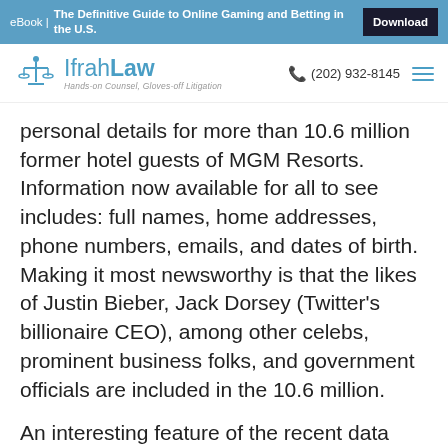eBook | The Definitive Guide to Online Gaming and Betting in the U.S. | Download
IfrahLaw — Hands-on Counsel, Gloves-off Litigation | (202) 932-8145
personal details for more than 10.6 million former hotel guests of MGM Resorts. Information now available for all to see includes: full names, home addresses, phone numbers, emails, and dates of birth. Making it most newsworthy is that the likes of Justin Bieber, Jack Dorsey (Twitter's billionaire CEO), among other celebs, prominent business folks, and government officials are included in the 10.6 million.
An interesting feature of the recent data leak is